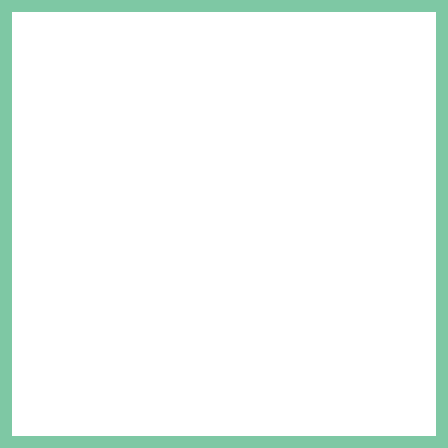Really Great Repair Service, Now In Full Swing!
February 15, 2022 - Author: Andy.
Thank goodness we have finally emerged from the careful management of the COVID-19 impact. We...